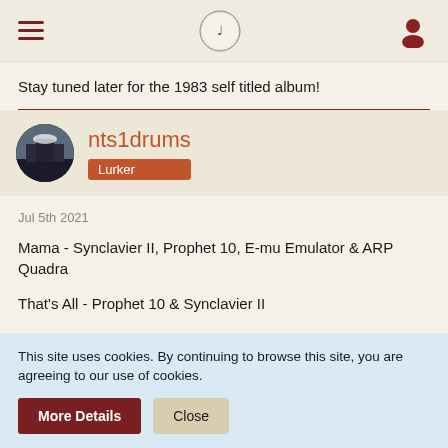Navigation header with hamburger menu, logo, and user icon
Stay tuned later for the 1983 self titled album!
nts1drums — Lurker (Jul 5th 2021)
Mama - Synclavier II, Prophet 10, E-mu Emulator & ARP Quadra
That's All - Prophet 10 & Synclavier II
Home By The Sea / Second Home By The Sea - Prophet 10, Synclavier
This site uses cookies. By continuing to browse this site, you are agreeing to our use of cookies.